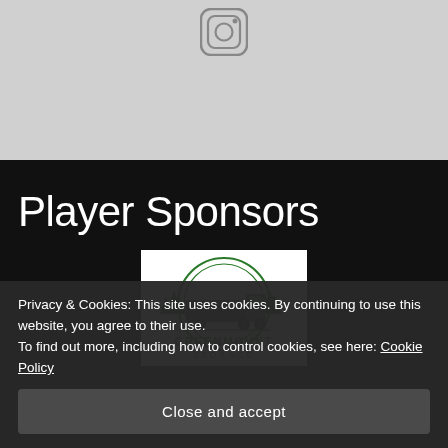[Figure (logo): Instagram camera icon in gray circle on light gray background]
Player Sponsors
[Figure (logo): Greenmount Storage logo: circular green emblem with truck and trees, text GREENMOUNT STORAGE]
Privacy & Cookies: This site uses cookies. By continuing to use this website, you agree to their use.
To find out more, including how to control cookies, see here: Cookie Policy
Close and accept